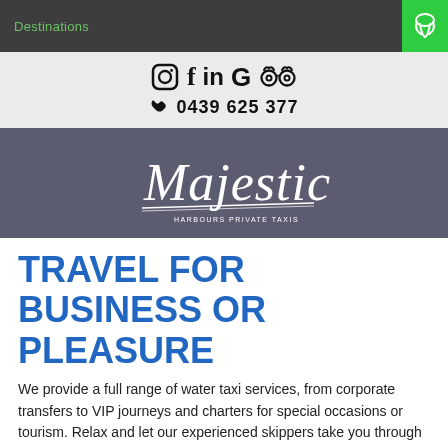Destinations
[Figure (logo): Social media icons: Instagram, Facebook, LinkedIn, Google, TripAdvisor and phone number 0439 625 377]
[Figure (logo): Majestic company logo in white script on dark grey/blue background]
TRAVEL FOR BUSINESS OR PLEASURE
We provide a full range of water taxi services, from corporate transfers to VIP journeys and charters for special occasions or tourism. Relax and let our experienced skippers take you through fabulous Sydney Harbour in style.